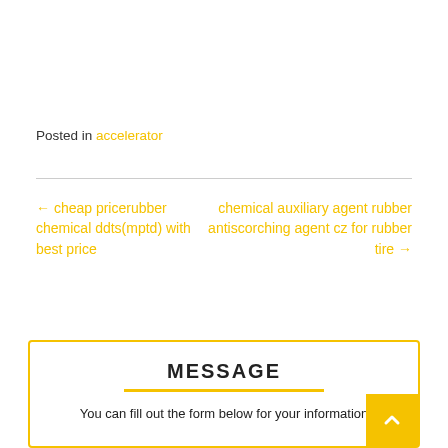Posted in accelerator
← cheap pricerubber chemical ddts(mptd) with best price
chemical auxiliary agent rubber antiscorching agent cz for rubber tire →
MESSAGE
You can fill out the form below for your information